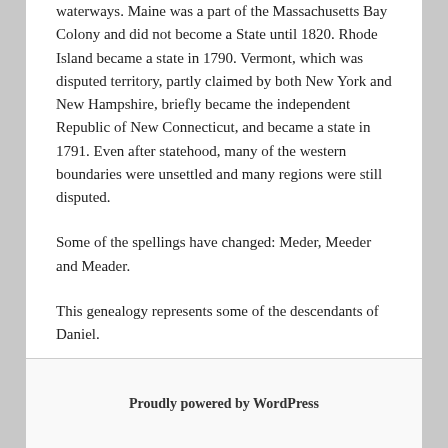waterways.  Maine was a part of the Massachusetts Bay Colony and did not become a State until 1820.  Rhode Island became a state in 1790.  Vermont, which was disputed territory, partly claimed by both New York and New Hampshire, briefly became the independent Republic of New Connecticut, and became a state in 1791.  Even after statehood, many of the western boundaries were unsettled and many regions were still disputed.
Some of the spellings have changed:  Meder, Meeder and Meader.
This genealogy represents some of the descendants of Daniel.
Proudly powered by WordPress